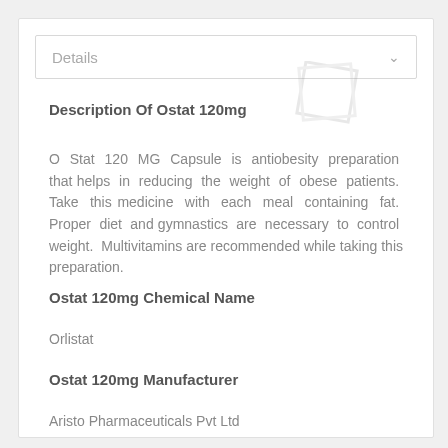Details
Description Of Ostat 120mg
O Stat 120 MG Capsule is antiobesity preparation that helps in reducing the weight of obese patients. Take this medicine with each meal containing fat. Proper diet and gymnastics are necessary to control weight. Multivitamins are recommended while taking this preparation.
Ostat 120mg Chemical Name
Orlistat
Ostat 120mg Manufacturer
Aristo Pharmaceuticals Pvt Ltd